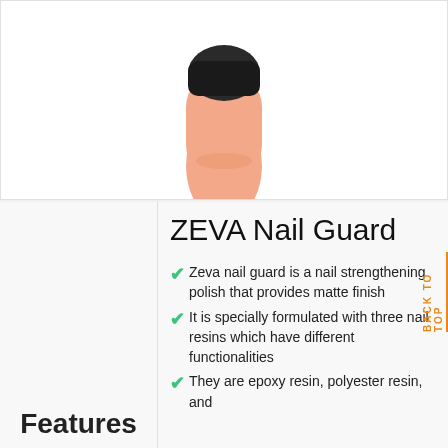[Figure (photo): A hand/finger wearing a dark nail guard cap on the fingertip, shown on a white background]
ZEVA Nail Guard
Zeva nail guard is a nail strengthening polish that provides matte finish
It is specially formulated with three nail resins which have different functionalities
They are epoxy resin, polyester resin, and ...
Features